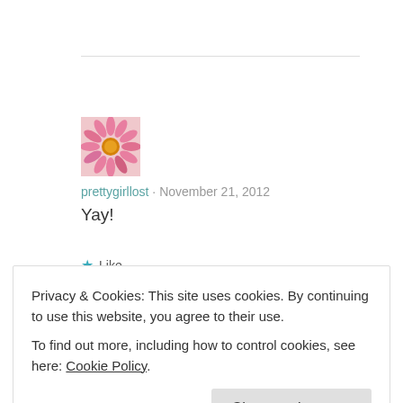[Figure (photo): Pink daisy flower avatar thumbnail]
prettygirllost · November 21, 2012
Yay!
★ Like
Privacy & Cookies: This site uses cookies. By continuing to use this website, you agree to their use.
To find out more, including how to control cookies, see here: Cookie Policy
Close and accept